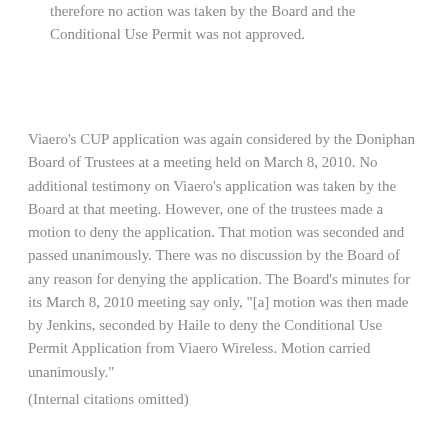therefore no action was taken by the Board and the Conditional Use Permit was not approved.
Viaero's CUP application was again considered by the Doniphan Board of Trustees at a meeting held on March 8, 2010. No additional testimony on Viaero's application was taken by the Board at that meeting. However, one of the trustees made a motion to deny the application. That motion was seconded and passed unanimously. There was no discussion by the Board of any reason for denying the application. The Board's minutes for its March 8, 2010 meeting say only, "[a] motion was then made by Jenkins, seconded by Haile to deny the Conditional Use Permit Application from Viaero Wireless. Motion carried unanimously."
(Internal citations omitted)